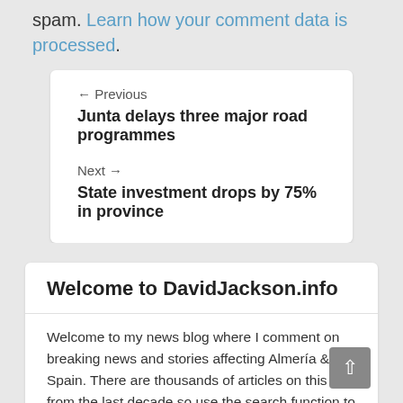spam. Learn how your comment data is processed.
← Previous
Junta delays three major road programmes
Next →
State investment drops by 75% in province
Welcome to DavidJackson.info
Welcome to my news blog where I comment on breaking news and stories affecting Almería & Spain. There are thousands of articles on this site from the last decade so use the search function to find what you want. Also check out my local history articles and my books available from Amazon.